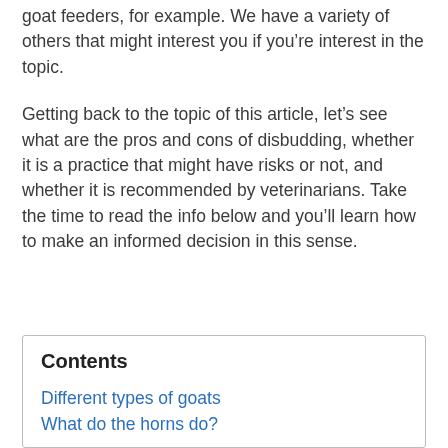goat feeders, for example. We have a variety of others that might interest you if you're interest in the topic.
Getting back to the topic of this article, let's see what are the pros and cons of disbudding, whether it is a practice that might have risks or not, and whether it is recommended by veterinarians. Take the time to read the info below and you'll learn how to make an informed decision in this sense.
Contents
Different types of goats
What do the horns do?